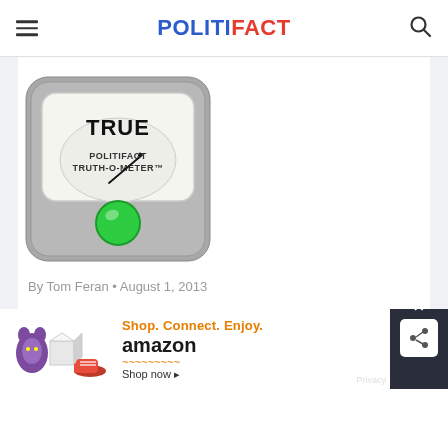POLITIFACT
[Figure (illustration): PolitiFact Truth-O-Meter gauge showing 'TRUE' verdict with a green indicator light and needle pointing to the right. The meter has a grey rounded square background.]
By Tom Feran • August 1, 2013
[Figure (illustration): Amazon advertisement banner with purple cat plush toy, white cube, and red sneakers on left. Text reads 'Shop. Connect. Enjoy.' in orange, 'Shop now' in black, and 'amazon' logo in black with orange smile. Privacy link shown.]